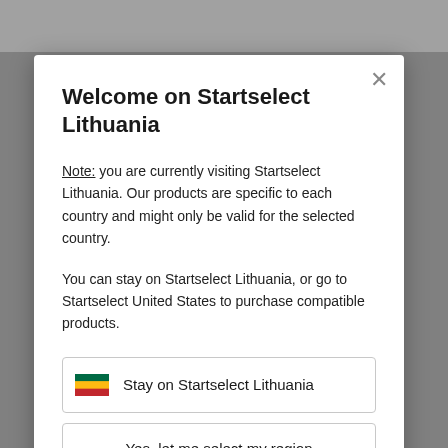[Figure (screenshot): Blurred website background behind the modal dialog]
Welcome on Startselect Lithuania
Note: you are currently visiting Startselect Lithuania. Our products are specific to each country and might only be valid for the selected country.
You can stay on Startselect Lithuania, or go to Startselect United States to purchase compatible products.
Stay on Startselect Lithuania
Yes, let me select my region